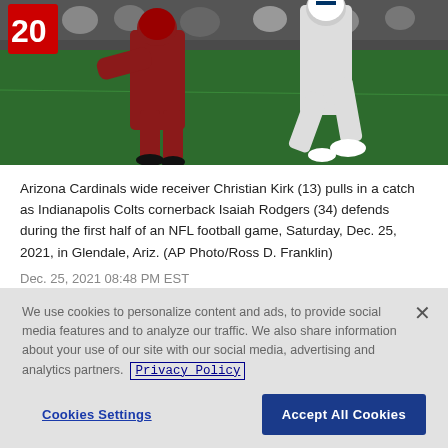[Figure (photo): NFL football action photo showing Arizona Cardinals wide receiver Christian Kirk (13) in red uniform being defended by Indianapolis Colts cornerback Isaiah Rodgers (34) in white uniform on a green field. Number 20 visible on a sign in the upper left background.]
Arizona Cardinals wide receiver Christian Kirk (13) pulls in a catch as Indianapolis Colts cornerback Isaiah Rodgers (34) defends during the first half of an NFL football game, Saturday, Dec. 25, 2021, in Glendale, Ariz. (AP Photo/Ross D. Franklin)
Dec. 25, 2021 08:48 PM EST
We use cookies to personalize content and ads, to provide social media features and to analyze our traffic. We also share information about your use of our site with our social media, advertising and analytics partners. Privacy Policy